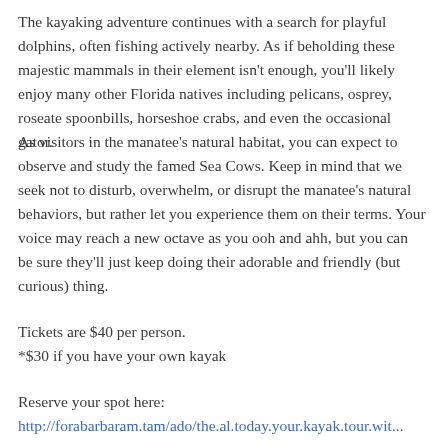The kayaking adventure continues with a search for playful dolphins, often fishing actively nearby. As if beholding these majestic mammals in their element isn't enough, you'll likely enjoy many other Florida natives including pelicans, osprey, roseate spoonbills, horseshoe crabs, and even the occasional gator.
As visitors in the manatee's natural habitat, you can expect to observe and study the famed Sea Cows. Keep in mind that we seek not to disturb, overwhelm, or disrupt the manatee's natural behaviors, but rather let you experience them on their terms. Your voice may reach a new octave as you ooh and ahh, but you can be sure they'll just keep doing their adorable and friendly (but curious) thing.
Tickets are $40 per person.
*$30 if you have your own kayak
Reserve your spot here:
http://forabarbaram.tam/ado/the.al.today.your.kayak.tour.wit...